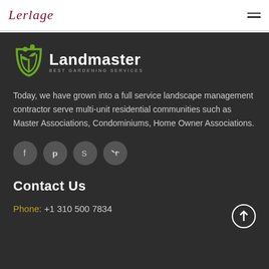Lerlage
[Figure (logo): Landmaster Best Gardening Services logo with green plant/sprout icon]
Today, we have grown into a full service landscape management contractor serve multi-unit residential communities such as Master Associations, Condominiums, Home Owner Associations.
[Figure (infographic): Social media icons: Facebook, Pinterest, Skype, Twitter]
Contact Us
Phone: +1 310 500 7834